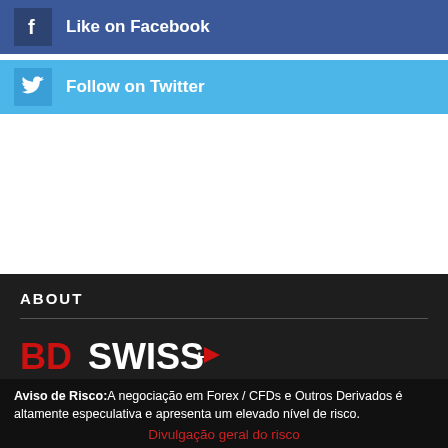[Figure (screenshot): Facebook 'Like on Facebook' blue button bar with Facebook icon]
[Figure (screenshot): Twitter 'Follow on Twitter' light blue button bar with Twitter bird icon]
ABOUT
[Figure (logo): BDSwiss logo in red and white text on dark background]
Aviso de Risco:A negociação em Forex / CFDs e Outros Derivados é altamente especulativa e apresenta um elevado nível de risco.
Divulgação geral do risco